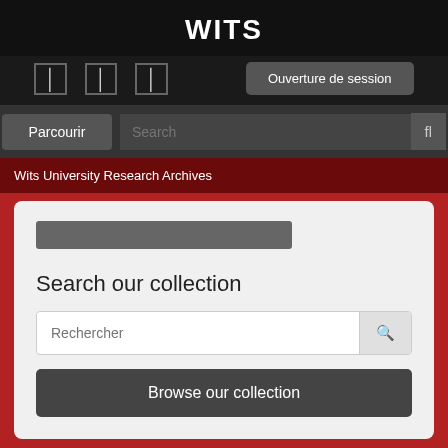WITS
[Figure (screenshot): Navigation icons (three vertical bar icons) and Ouverture de session button]
Parcourir
Search
Wits University Research Archives
Search our collection
Rechercher
Browse our collection
Parcourir 148 collections